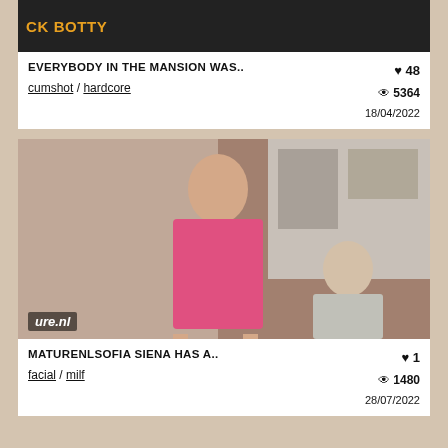[Figure (screenshot): Top cropped thumbnail strip showing dark background with text CK BOTTY in orange/yellow]
EVERYBODY IN THE MANSION WAS..
cumshot / hardcore
♥ 48   👁 5364   18/04/2022
[Figure (photo): Woman in pink floral dress with glasses standing in kitchen, man kneeling beside her]
MATURENLSOFIA SIENA HAS A..
facial / milf
♥ 1   👁 1480   28/07/2022